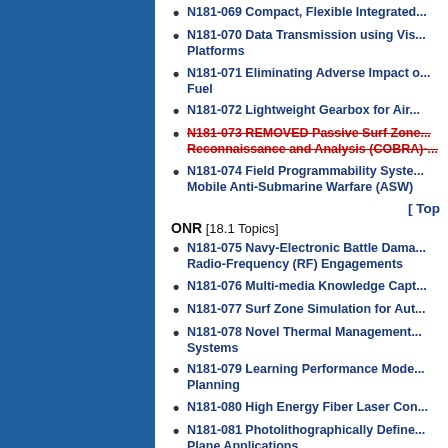N181-069 Compact, Flexible Integrated...
N181-070 Data Transmission using Vis... Platforms
N181-071 Eliminating Adverse Impact ... Fuel
N181-072 Lightweight Gearbox for Air...
N181-073 REMOVED Passive Surf Zone... Reconnaissance and Analysis (COBRA)-...
N181-074 Field Programmability Syste... Mobile Anti-Submarine Warfare (ASW)
[ Top
ONR [18.1 Topics]
N181-075 Navy-Electronic Battle Dama... Radio-Frequency (RF) Engagements
N181-076 Multi-media Knowledge Capt...
N181-077 Surf Zone Simulation for Aut...
N181-078 Novel Thermal Management... Systems
N181-079 Learning Performance Mode... Planning
N181-080 High Energy Fiber Laser Con...
N181-081 Photolithographically Define... Plane Applications
N181-082 Multi-Dimensional Ambient N...
N181-083 Warfighting Chess Games an...